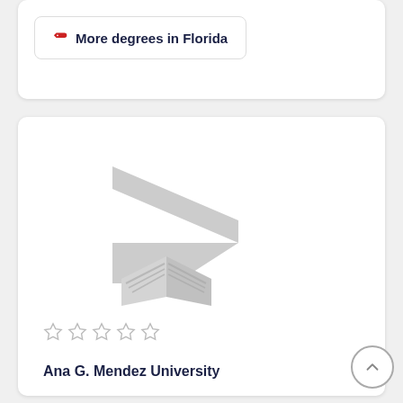More degrees in Florida
[Figure (logo): Ana G. Mendez University logo — stylized gray arrow and open book mark]
☆ ☆ ☆ ☆ ☆
Ana G. Mendez University